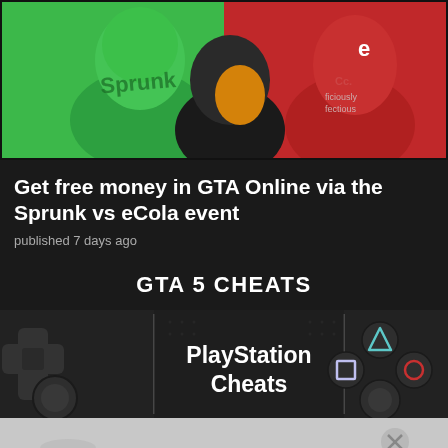[Figure (photo): Two mascot characters dressed in green Sprunk and red eCola branded costumes/bodysuits, standing against matching green and red backgrounds]
Get free money in GTA Online via the Sprunk vs eCola event
published 7 days ago
GTA 5 CHEATS
[Figure (photo): PlayStation controller image with text overlay reading PlayStation Cheats, showing d-pad on left, face buttons (triangle, square, circle) on right against dark background]
[Figure (screenshot): Mobile phone navigation bar at bottom with home indicator button]